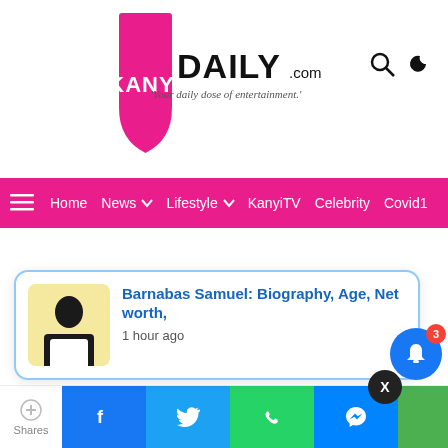KANYIDAILY.com — Your daily dose of entertainment.
Home  News  Lifestyle  KanyiTV  Celebrity  Covid1
Barnabas Samuel: Biography, Age, Net worth,
1 hour ago
Shares